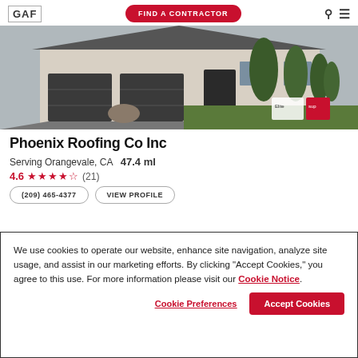GAF | FIND A CONTRACTOR
[Figure (photo): House exterior with two-car garage, stone facade, green trees and shrubs. Elite and Sup badges visible in bottom right corner.]
Phoenix Roofing Co Inc
Serving Orangevale, CA  47.4 ml
4.6 ★★★★½ (21)
(209) 465-4377  VIEW PROFILE
We use cookies to operate our website, enhance site navigation, analyze site usage, and assist in our marketing efforts. By clicking "Accept Cookies," you agree to this use. For more information please visit our Cookie Notice.
Cookie Preferences  Accept Cookies